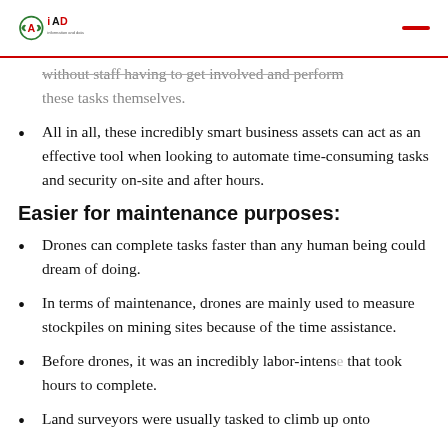IAD logo and navigation
without staff having to get involved and perform these tasks themselves.
All in all, these incredibly smart business assets can act as an effective tool when looking to automate time-consuming tasks and security on-site and after hours.
Easier for maintenance purposes:
Drones can complete tasks faster than any human being could dream of doing.
In terms of maintenance, drones are mainly used to measure stockpiles on mining sites because of the time assistance.
Before drones, it was an incredibly labor-intense that took hours to complete.
Land surveyors were usually tasked to climb up onto